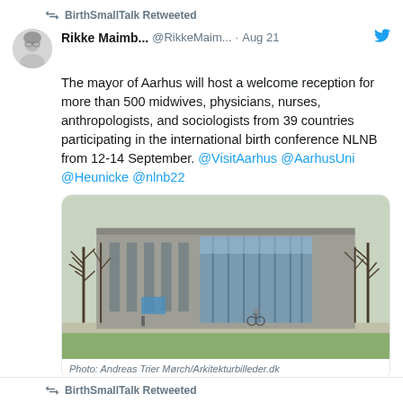BirthSmallTalk Retweeted
Rikke Maimb... @RikkeMaim... · Aug 21
The mayor of Aarhus will host a welcome reception for more than 500 midwives, physicians, nurses, anthropologists, and sociologists from 39 countries participating in the international birth conference NLNB from 12-14 September. @VisitAarhus @AarhusUni @Heunicke @nlnb22
[Figure (photo): Exterior photo of a modernist building with large glass windows and bare trees in front, an Aarhus university building]
Photo: Andreas Trier Mørch/Arkitekturbilleder.dk
2  39 (comment and like counts)
BirthSmallTalk Retweeted